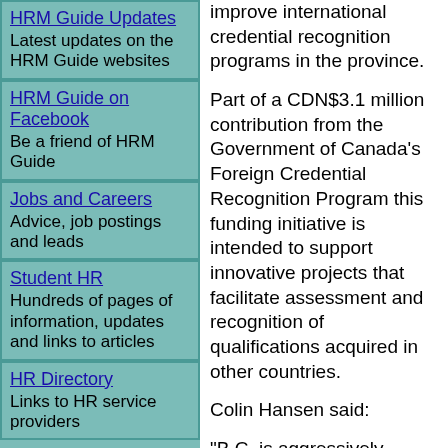HRM Guide Updates
Latest updates on the HRM Guide websites
HRM Guide on Facebook
Be a friend of HRM Guide
Jobs and Careers
Advice, job postings and leads
Student HR
Hundreds of pages of information, updates and links to articles
HR Directory
Links to HR service providers
[Figure (photo): Teal/dark teal colored image, partially visible at bottom of left column]
improve international credential recognition programs in the province.
Part of a CDN$3.1 million contribution from the Government of Canada's Foreign Credential Recognition Program this funding initiative is intended to support innovative projects that facilitate assessment and recognition of qualifications acquired in other countries.
Colin Hansen said:
"B.C. is aggressively courting skilled immigrants from overseas and across Canada in order to fill many of the one million job openings available over the next decade. In inviting them